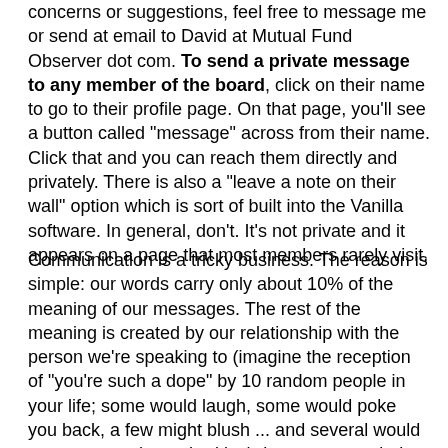concerns or suggestions, feel free to message me or send at email to David at Mutual Fund Observer dot com. To send a private message to any member of the board, click on their name to go to their profile page. On that page, you'll see a button called "message" across from their name. Click that and you can reach them directly and privately. There is also a "leave a note on their wall" option which is sort of built into the Vanilla software. In general, don't. It's not private and it appears on a page that most members rarely visit.
Communication is a tricky business. The reason is simple: our words carry only about 10% of the meaning of our messages. The rest of the meaning is created by our relationship with the person we're speaking to (imagine the reception of "you're such a dope" by 10 random people in your life; some would laugh, some would poke you back, a few might blush ... and several would report you to the authorities), by our non-verbal behaviors (from "saying it with a smile" to tone of voice), by our shared physical environments ("I'm so hot" reads differently if you've said it at the end of a five mile run on a summer's day than in a nightclub) and our cultures (the f-word is one word in 10 for some cultures and, hence, no big deal; for others, it's a deadly affront). Here's the problem: on a discussion board, that all-important 90% is missing. We're stuck